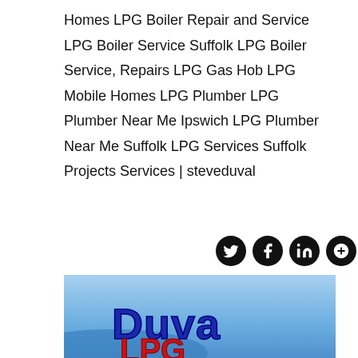Homes LPG Boiler Repair and Service LPG Boiler Service Suffolk LPG Boiler Service, Repairs LPG Gas Hob LPG Mobile Homes LPG Plumber LPG Plumber Near Me Ipswich LPG Plumber Near Me Suffolk LPG Services Suffolk Projects Services | steveduval
[Figure (infographic): Social media icons: Twitter, Facebook, LinkedIn, Google+]
[Figure (photo): Blue banner with 'Duva' text visible in bold blue letters, partial company logo for Duval LPG services]